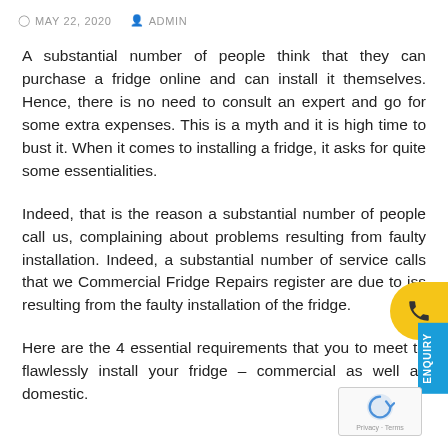MAY 22, 2020   ADMIN
A substantial number of people think that they can purchase a fridge online and can install it themselves. Hence, there is no need to consult an expert and go for some extra expenses. This is a myth and it is high time to bust it. When it comes to installing a fridge, it asks for quite some essentialities.
Indeed, that is the reason a substantial number of people call us, complaining about problems resulting from faulty installation. Indeed, a substantial number of service calls that we Commercial Fridge Repairs register are due to issues resulting from the faulty installation of the fridge.
Here are the 4 essential requirements that you to meet to flawlessly install your fridge – commercial as well as domestic.